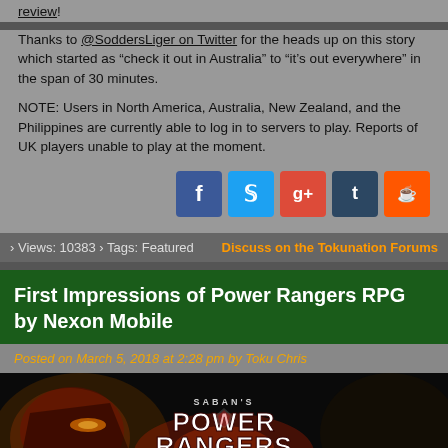review!
Thanks to @SoddersLiger on Twitter for the heads up on this story which started as “check it out in Australia” to “it’s out everywhere” in the span of 30 minutes.
NOTE: Users in North America, Australia, New Zealand, and the Philippines are currently able to log in to servers to play. Reports of UK players unable to play at the moment.
[Figure (infographic): Social media share buttons: Facebook (blue), Twitter (light blue), Google+ (red), Tumblr (dark blue), Reddit (orange)]
› Views: 10383 › Tags: Featured
Discuss on the Tokunation Forums
First Impressions of Power Rangers RPG by Nexon Mobile
Posted on March 5, 2018 at 2:28 pm by Toku Chris
[Figure (photo): Saban's Power Rangers RPG logo/title card with a helmeted Power Ranger and dramatic lighting]
Nexon Mobile, known in the Power Rangers community for having created the popular mobile game Power Rangers Dash, has developed a brand